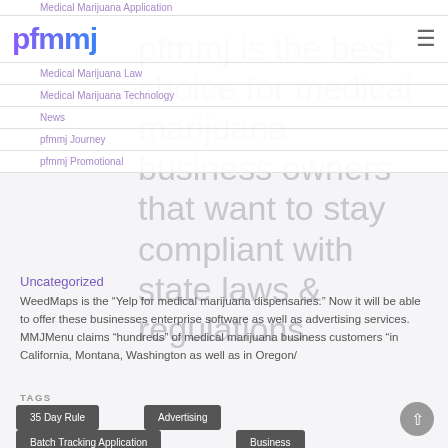Medical Marijuana Application
[Figure (logo): pfmmj logo with purple-to-blue gradient text]
pfmmj is the best choice for medical marijuana business owners that want to stay compliant with state laws & regulations.
Medical Marijuana Law
Medical Marijuana Technology
News
pfmmj Journey
pfmmj Promotional
Uncategorized
WeedMaps is the “Yelp for medical marijuana dispensaries.” Now it will be able to offer these businesses enterprise software as well as advertising services. MMJMenu claims “hundreds” of medical marijuana business customers “in California, [Montana, Washington as well as in Oregon/]
TAGS
35 Day Rule
Advertising
Batch Tracking Application
Business
CA Dispensary Crack Down